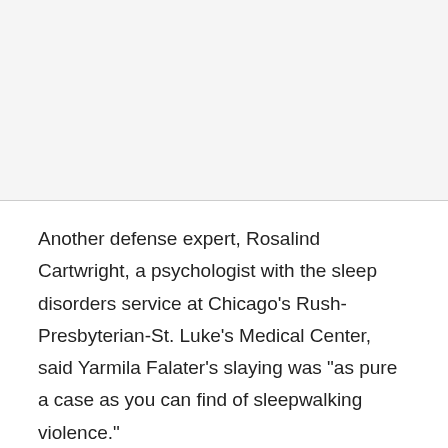Another defense expert, Rosalind Cartwright, a psychologist with the sleep disorders service at Chicago's Rush-Presbyterian-St. Luke's Medical Center, said Yarmila Falater's slaying was "as pure a case as you can find of sleepwalking violence."
Mark Mahowald, director of the Minnesota Regional Sleep Disorders Clinic at the Hennepin County Medical